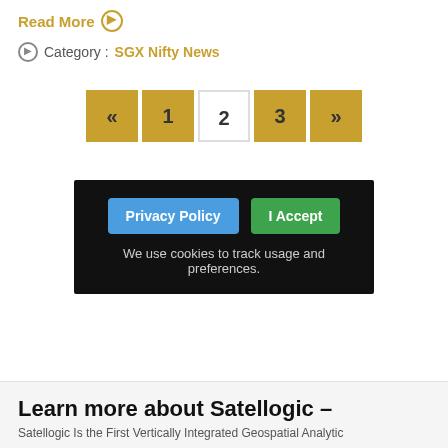Read More →
Category : SGX Nifty News
« 1 2 3 »
Privacy Policy   I Accept
We use cookies to track usage and preferences.
Learn more about Satellogic -
Satellogic Is the First Vertically Integrated Geospatial Analytic